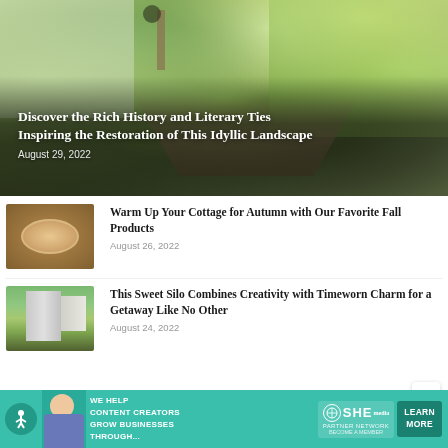[Figure (photo): Hero image of a lush garden landscape with a white house, lamp post, and winding path through green plantings]
Discover the Rich History and Literary Ties Inspiring the Restoration of This Idyllic Landscape
August 29, 2022
[Figure (photo): Thumbnail of autumn pie on wooden surface]
Warm Up Your Cottage for Autumn with Our Favorite Fall Products
August 26, 2022
[Figure (photo): Thumbnail of a sweet silo building with trees and lawn]
This Sweet Silo Combines Creativity with Timeworn Charm for a Getaway Like No Other
August 24, 2022
[Figure (infographic): Advertisement banner: SHE Media Partner Network - WE HELP CONTENT CREATORS GROW BUSINESSES THROUGH... LEARN MORE]